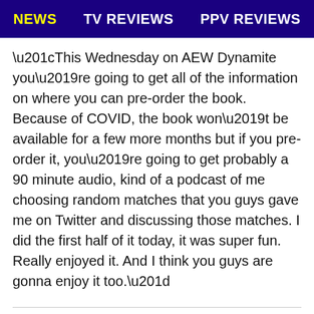NEWS   TV REVIEWS   PPV REVIEWS
“This Wednesday on AEW Dynamite you’re going to get all of the information on where you can pre-order the book. Because of COVID, the book won’t be available for a few more months but if you pre-order it, you’re going to get probably a 90 minute audio, kind of a podcast of me choosing random matches that you guys gave me on Twitter and discussing those matches. I did the first half of it today, it was super fun. Really enjoyed it. And I think you guys are gonna enjoy it too.”
You can watch Jericho’s Saturday Night Special show below.